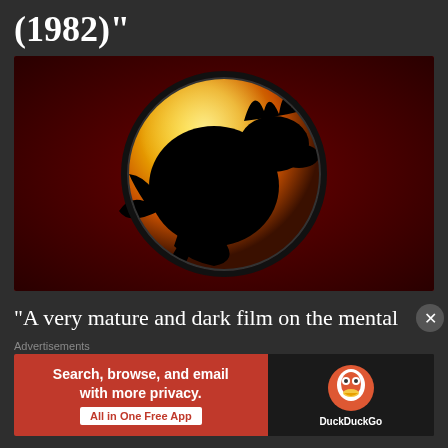(1982)"
[Figure (logo): Mortal Kombat dragon logo — a black dragon silhouette on a circular yellow-orange gradient sphere with dark red background]
“A very mature and dark film on the mental damage of war, which ironically spawned a series of films which
Advertisements
[Figure (other): DuckDuckGo advertisement banner: 'Search, browse, and email with more privacy. All in One Free App' with DuckDuckGo logo on dark right panel]